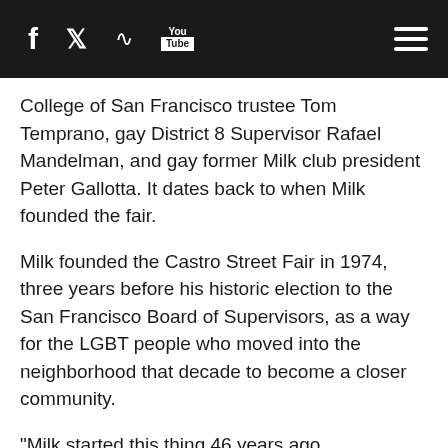Social media icons: Facebook, Twitter, RSS, YouTube, Hamburger menu
College of San Francisco trustee Tom Temprano, gay District 8 Supervisor Rafael Mandelman, and gay former Milk club president Peter Gallotta. It dates back to when Milk founded the fair.
Milk founded the Castro Street Fair in 1974, three years before his historic election to the San Francisco Board of Supervisors, as a way for the LGBT people who moved into the neighborhood that decade to become a closer community.
"Milk started this thing 46 years ago, and it's the longest continuous street fair in the Castro," Meyer said. "It was created to be inclusive and created as a celebration for people who, at that point, didn't have much to celebrate."